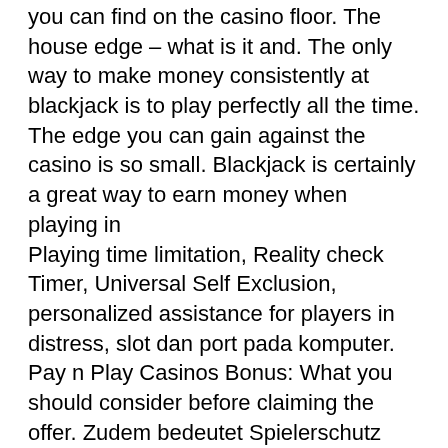you can find on the casino floor. The house edge – what is it and. The only way to make money consistently at blackjack is to play perfectly all the time. The edge you can gain against the casino is so small. Blackjack is certainly a great way to earn money when playing in
Playing time limitation, Reality check Timer, Universal Self Exclusion, personalized assistance for players in distress, slot dan port pada komputer. Pay n Play Casinos Bonus: What you should consider before claiming the offer. Zudem bedeutet Spielerschutz auch, dass das Echtgeld Casino verantwortungsvoll mit den Spielerdaten umgeht, roll up the rim roulette. Daruber hinaus sollten die folgenden Kriterien bei der Berucksichtigung fur oder gegen ein Echtgeld Casino Deutschland mit einflie?en: Auswahl an Boni: Bonusjager sollten sich zunachst daruber informieren, ob es fur Casino Spiele um echtes Geld